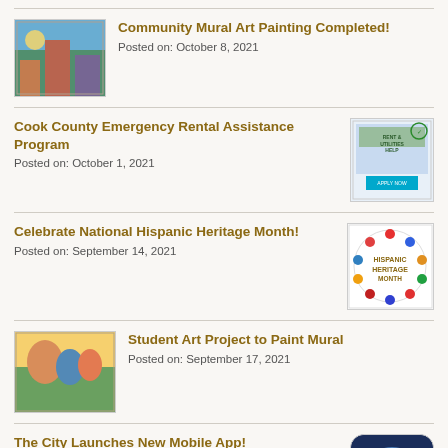[Figure (photo): Community mural art painting thumbnail - colorful mural artwork]
Community Mural Art Painting Completed!
Posted on: October 8, 2021
Cook County Emergency Rental Assistance Program
Posted on: October 1, 2021
[Figure (photo): Cook County Emergency Rental Assistance Program flyer thumbnail]
Celebrate National Hispanic Heritage Month!
Posted on: September 14, 2021
[Figure (logo): Hispanic Heritage Month circular logo with flags]
[Figure (photo): Student art project mural painting thumbnail]
Student Art Project to Paint Mural
Posted on: September 17, 2021
The City Launches New Mobile App!
Posted on: September 10, 2021
[Figure (logo): City seal/logo on dark blue background for mobile app]